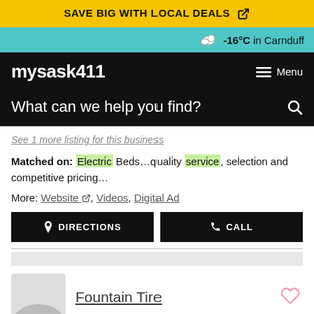SAVE BIG WITH LOCAL DEALS
-16°C in Carnduff
mysask411  Menu
What can we help you find?
See 1 more listing for this business
Matched on: Electric Beds...quality service, selection and competitive pricing...
More: Website, Videos, Digital Ad
DIRECTIONS  CALL
Fountain Tire